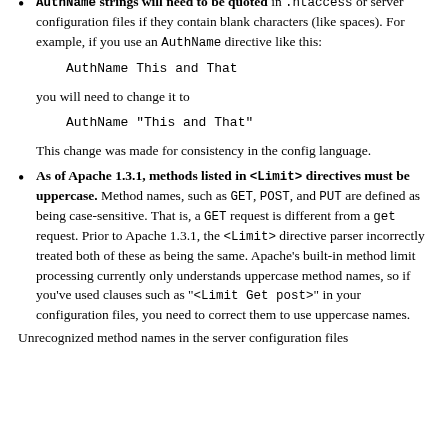AuthName strings will need to be quoted in .htaccess or server configuration files if they contain blank characters (like spaces). For example, if you use an AuthName directive like this:
AuthName This and That
you will need to change it to
AuthName "This and That"
This change was made for consistency in the config language.
As of Apache 1.3.1, methods listed in <Limit> directives must be uppercase. Method names, such as GET, POST, and PUT are defined as being case-sensitive. That is, a GET request is different from a get request. Prior to Apache 1.3.1, the <Limit> directive parser incorrectly treated both of these as being the same. Apache's built-in method limit processing currently only understands uppercase method names, so if you've used clauses such as "<Limit Get post>" in your configuration files, you need to correct them to use uppercase names.
Unrecognized method names in the server configuration files...